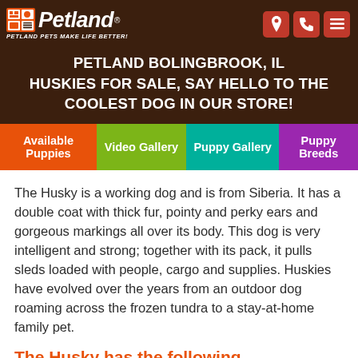Petland — Petland Pets Make Life Better!
PETLAND BOLINGBROOK, IL HUSKIES FOR SALE, SAY HELLO TO THE COOLEST DOG IN OUR STORE!
[Figure (screenshot): Navigation tabs: Available Puppies (orange), Video Gallery (green), Puppy Gallery (teal), Puppy Breeds (purple)]
The Husky is a working dog and is from Siberia. It has a double coat with thick fur, pointy and perky ears and gorgeous markings all over its body. This dog is very intelligent and strong; together with its pack, it pulls sleds loaded with people, cargo and supplies. Huskies have evolved over the years from an outdoor dog roaming across the frozen tundra to a stay-at-home family pet.
The Husky has the following characteristics: